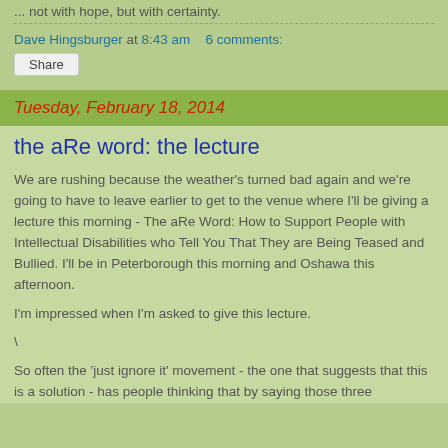... not with hope, but with certainty.
Dave Hingsburger at 8:43 am   6 comments:
Share
Tuesday, February 18, 2014
the aRe word: the lecture
We are rushing because the weather's turned bad again and we're going to have to leave earlier to get to the venue where I'll be giving a lecture this morning - The aRe Word: How to Support People with Intellectual Disabilities who Tell You That They are Being Teased and Bullied. I'll be in Peterborough this morning and Oshawa this afternoon.
I'm impressed when I'm asked to give this lecture.
\
So often the 'just ignore it' movement - the one that suggests that this is a solution - has people thinking that by saying those three